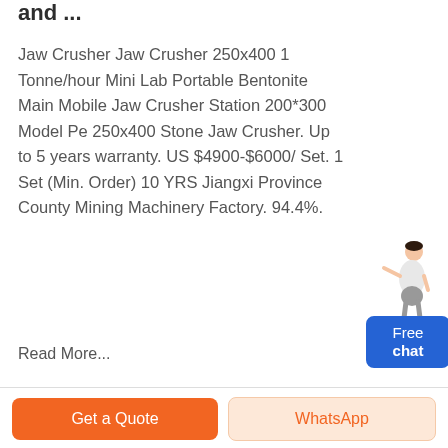and ...
Jaw Crusher Jaw Crusher 250x400 1 Tonne/hour Mini Lab Portable Bentonite Main Mobile Jaw Crusher Station 200*300 Model Pe 250x400 Stone Jaw Crusher. Up to 5 years warranty. US $4900-$6000/ Set. 1 Set (Min. Order) 10 YRS Jiangxi Province County Mining Machinery Factory. 94.4%.
[Figure (illustration): Chat widget with a female figure and a blue button labeled Free chat]
Read More...
Get a Quote | WhatsApp